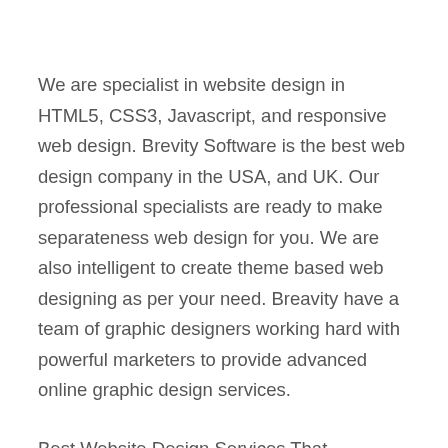We are specialist in website design in HTML5, CSS3, Javascript, and responsive web design. Brevity Software is the best web design company in the USA, and UK. Our professional specialists are ready to make separateness web design for you. We are also intelligent to create theme based web designing as per your need. Breavity have a team of graphic designers working hard with powerful marketers to provide advanced online graphic design services.
Best Website Design Services That Maximize